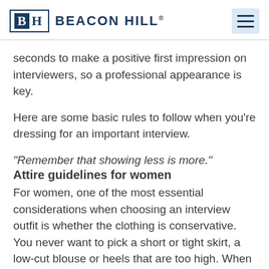BEACON HILL®
seconds to make a positive first impression on interviewers, so a professional appearance is key.
Here are some basic rules to follow when you're dressing for an important interview.
"Remember that showing less is more."
Attire guidelines for women
For women, one of the most essential considerations when choosing an interview outfit is whether the clothing is conservative. You never want to pick a short or tight skirt, a low-cut blouse or heels that are too high. When in doubt, remember that less is more.